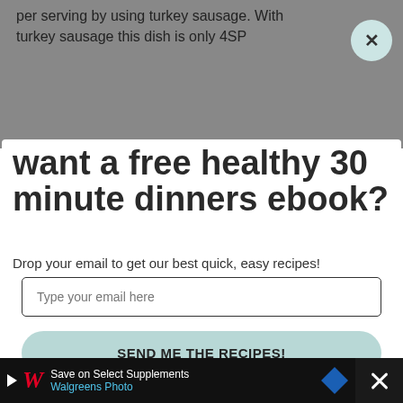per serving by using turkey sausage. With turkey sausage this dish is only 4SP
want a free healthy 30 minute dinners ebook?
Drop your email to get our best quick, easy recipes!
Type your email here
SEND ME THE RECIPES!
Save on Select Supplements Walgreens Photo